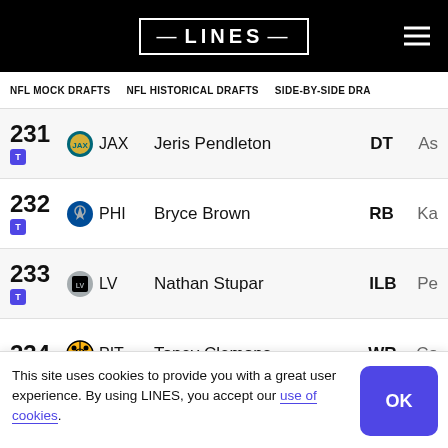LINES
NFL MOCK DRAFTS | NFL HISTORICAL DRAFTS | SIDE-BY-SIDE DRA
| Pick | Team | Player | Pos | College |
| --- | --- | --- | --- | --- |
| 231 T | JAX | Jeris Pendleton | DT | As |
| 232 T | PHI | Bryce Brown | RB | Ka |
| 233 T | LV | Nathan Stupar | ILB | Pe |
| 234 | PIT | Toney Clemons | WR | Co |
| 235 | SEA | Greg Scruggs | DE | Lo |
This site uses cookies to provide you with a great user experience. By using LINES, you accept our use of cookies.